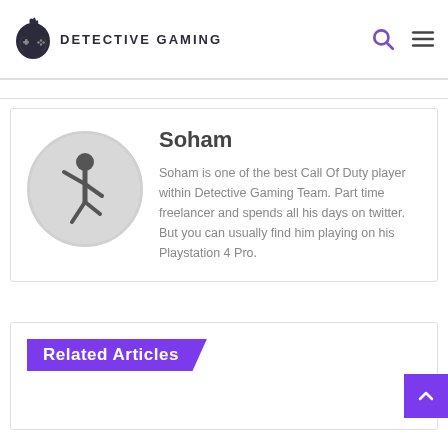DETECTIVE GAMING
Soham
Soham is one of the best Call Of Duty player within Detective Gaming Team. Part time freelancer and spends all his days on twitter. But you can usually find him playing on his Playstation 4 Pro.
Related Articles